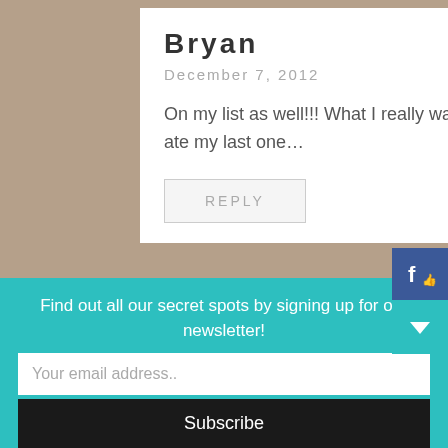Bryan
December 7, 2012
On my list as well!!! What I really want/need is a new cheeky shirt! My dog ate my last one…
REPLY
Find out all our secret spots by signing up for our newsletter!
Your email address..
Subscribe